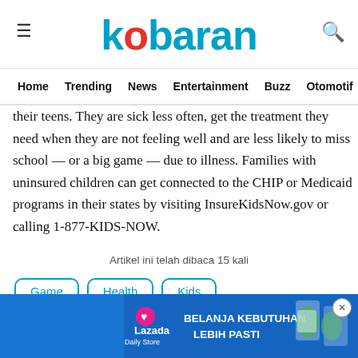kobaran — Home Trending News Entertainment Buzz Otomotif Bo
their teens. They are sick less often, get the treatment they need when they are not feeling well and are less likely to miss school — or a big game — due to illness. Families with uninsured children can get connected to the CHIP or Medicaid programs in their states by visiting InsureKidsNow.gov or calling 1-877-KIDS-NOW.
Artikel ini telah dibaca 15 kali
Game
Health
Kids
[Figure (screenshot): Lazada Daily Store advertisement banner with text BELANJA KEBUTUHAN LEBIH PASTI on blue background with product images]